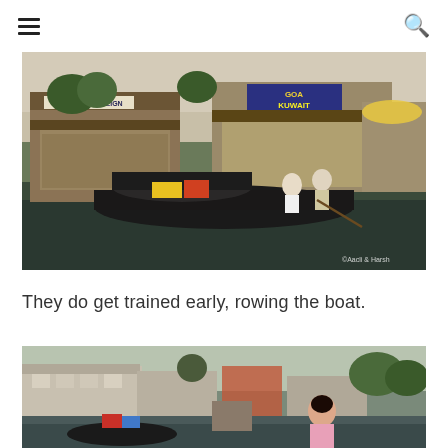≡  🔍
[Figure (photo): A shikara boat on Dal Lake, Kashmir, with houseboats named 'Royal Sovereign' and 'GOA KUWAIT' visible in the background. People are rowing the boat. Watermark: ©Aacli & Harsh]
They do get trained early, rowing the boat.
[Figure (photo): A waterfront scene in Kashmir with houseboats and buildings in the background. A young girl is visible in the foreground.]